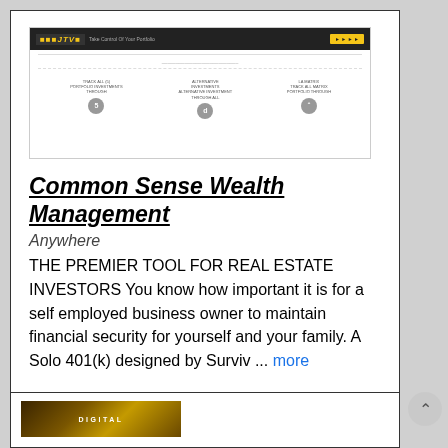[Figure (screenshot): Screenshot of a financial portfolio management website with dark header, logo, tagline 'Take Control Of Your Portfolio', yellow button, and three icon columns below a divider]
Common Sense Wealth Management
Anywhere
THE PREMIER TOOL FOR REAL ESTATE INVESTORS You know how important it is for a self employed business owner to maintain financial security for yourself and your family. A Solo 401(k) designed by Surviv ... more
10 @ $1,200.00 / for two participants
[Figure (screenshot): Partial view of a second listing card with a gold/brown banner image at the bottom]